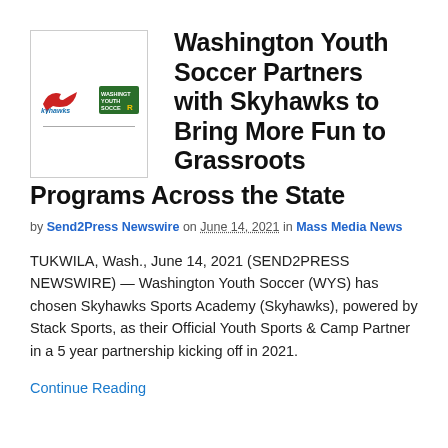[Figure (logo): Kyhawks and Washington Youth Soccer logos side by side inside a box with a bottom rule line]
Washington Youth Soccer Partners with Skyhawks to Bring More Fun to Grassroots Programs Across the State
by Send2Press Newswire on June 14, 2021 in Mass Media News
TUKWILA, Wash., June 14, 2021 (SEND2PRESS NEWSWIRE) — Washington Youth Soccer (WYS) has chosen Skyhawks Sports Academy (Skyhawks), powered by Stack Sports, as their Official Youth Sports & Camp Partner in a 5 year partnership kicking off in 2021.
Continue Reading